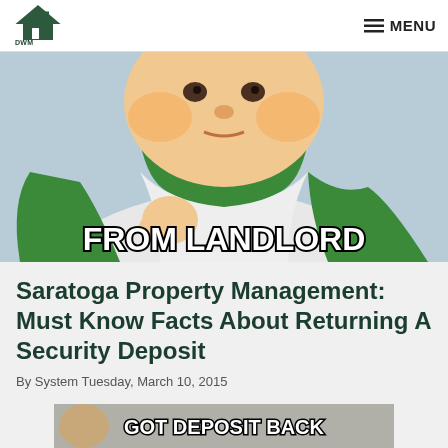DWM PROPERTIES  ≡ MENU
[Figure (photo): Baby in green and white baseball shirt holding fist up, meme-style image with bold white text outlined in black reading 'FROM LANDLORD' at the bottom]
Saratoga Property Management: Must Know Facts About Returning A Security Deposit
By System Tuesday, March 10, 2015
[Figure (photo): Meme image with bold white text outlined in black reading 'GOT DEPOSIT BACK']